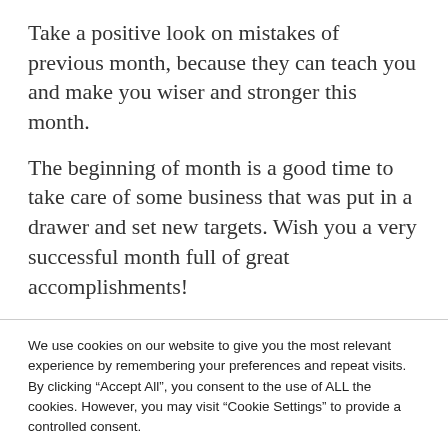Take a positive look on mistakes of previous month, because they can teach you and make you wiser and stronger this month.
The beginning of month is a good time to take care of some business that was put in a drawer and set new targets. Wish you a very successful month full of great accomplishments!
We use cookies on our website to give you the most relevant experience by remembering your preferences and repeat visits. By clicking “Accept All”, you consent to the use of ALL the cookies. However, you may visit “Cookie Settings” to provide a controlled consent.
Cookie Settings | Accept All